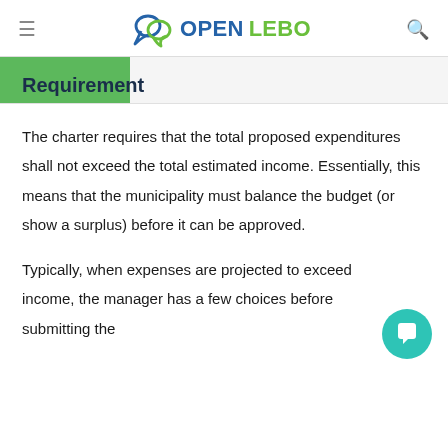OPENLEBO
Requirement
The charter requires that the total proposed expenditures shall not exceed the total estimated income. Essentially, this means that the municipality must balance the budget (or show a surplus) before it can be approved.
Typically, when expenses are projected to exceed income, the manager has a few choices before submitting the